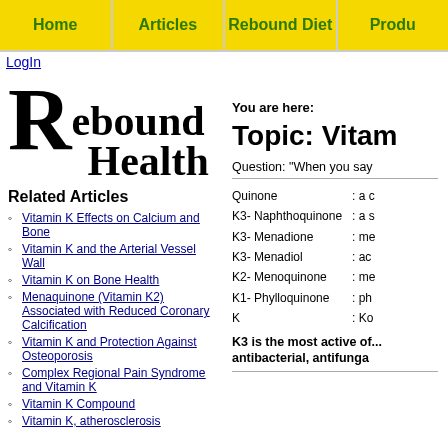Home | Articles | Rebound Diet | Produ...
LogIn
[Figure (logo): Rebound Health logo with large decorative R followed by 'ebound Health' text in serif font]
Related Articles
Vitamin K Effects on Calcium and Bone
Vitamin K and the Arterial Vessel Wall
Vitamin K on Bone Health
Menaquinone (Vitamin K2) Associated with Reduced Coronary Calcification
Vitamin K and Protection Against Osteoporosis
Complex Regional Pain Syndrome and Vitamin K
Vitamin K Compound
Vitamin K, atherosclerosis
You are here:
Topic: Vitam...
Question: "When you say...
Quinone : a c...
K3- Naphthoquinone : a s...
K3- Menadione : me...
K3- Menadiol : ac...
K2- Menoquinone : me...
K1- Phylloquinone : ph...
K : Ko...
K3 is the most active of... antibacterial, antifunga...